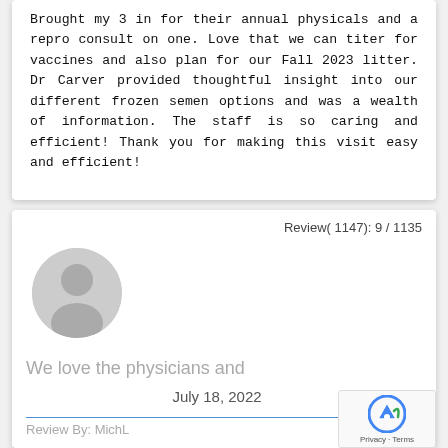Brought my 3 in for their annual physicals and a repro consult on one. Love that we can titer for vaccines and also plan for our Fall 2023 litter. Dr Carver provided thoughtful insight into our different frozen semen options and was a wealth of information. The staff is so caring and efficient! Thank you for making this visit easy and efficient!
Review( 1147): 9 / 1135
[Figure (illustration): Greyed out generic user avatar circle icon]
We love the physicians and
July 18, 2022
Review By: MichL